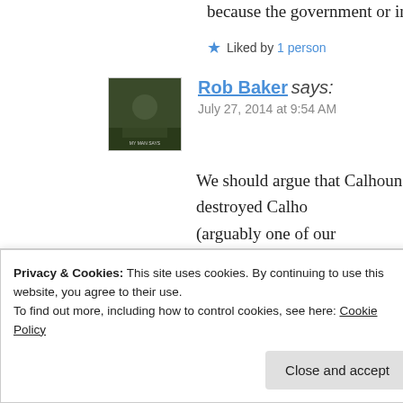because the government or independe...
Liked by 1 person
Rob Baker says:
July 27, 2014 at 9:54 AM
We should argue that Calhoun destroyed Calho... (arguably one of our greatest), set the stage for... Of course, we can all compromise and say tha... Forever....
Like
Reply
Privacy & Cookies: This site uses cookies. By continuing to use this website, you agree to their use.
To find out more, including how to control cookies, see here: Cookie Policy
Close and accept